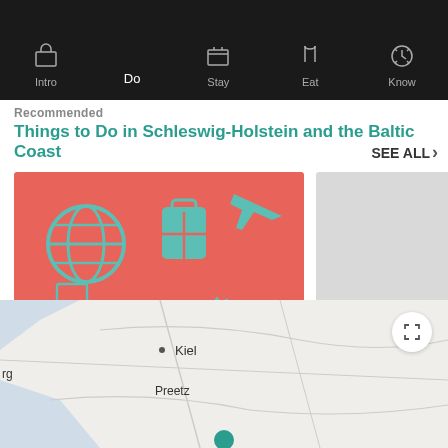Intro | Do | Stay | Eat | Know
Recommended
Things to Do in Schleswig-Holstein and the Baltic Coast
SEE ALL >
[Figure (illustration): Coral/red background card with teal travel icons: globe, luggage, bicycle, framed picture, cruise ship, eye, mountains, steering wheel, cocktail, airplane]
Altstadt
[Figure (photo): Light gray placeholder image card]
Holstent…
[Figure (map): Map showing Kiel, Preetz area in northern Germany with road/region boundaries]